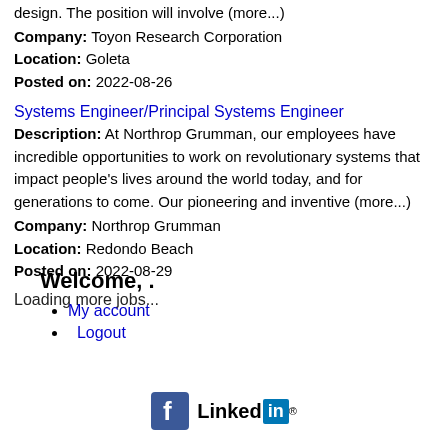design. The position will involve (more...)
Company: Toyon Research Corporation
Location: Goleta
Posted on: 2022-08-26
Systems Engineer/Principal Systems Engineer
Description: At Northrop Grumman, our employees have incredible opportunities to work on revolutionary systems that impact people's lives around the world today, and for generations to come. Our pioneering and inventive (more...)
Company: Northrop Grumman
Location: Redondo Beach
Posted on: 2022-08-29
Loading more jobs...
Welcome, .
My account
Logout
[Figure (logo): Facebook and LinkedIn social media icons]